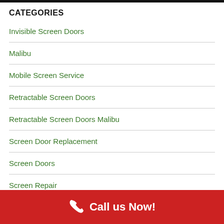CATEGORIES
Invisible Screen Doors
Malibu
Mobile Screen Service
Retractable Screen Doors
Retractable Screen Doors Malibu
Screen Door Replacement
Screen Doors
Screen Repair
Wide Opening Wall Screens
Call us Now!